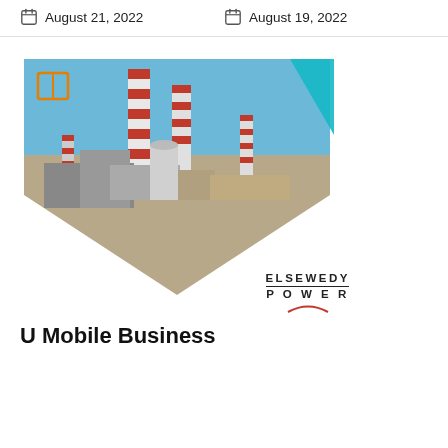August 21, 2022
August 19, 2022
[Figure (photo): Industrial power plant with red-and-white striped smokestacks and industrial equipment, shown in a diamond/chevron-shaped crop with a cyan triangle accent in the upper right corner and an orange book icon in the upper left. The Elsewedy Power logo appears at the bottom right of the image area.]
U Mobile Business